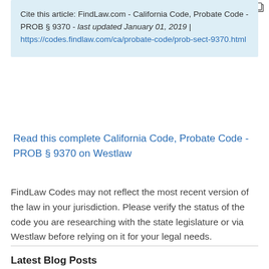Cite this article: FindLaw.com - California Code, Probate Code - PROB § 9370 - last updated January 01, 2019 | https://codes.findlaw.com/ca/probate-code/prob-sect-9370.html
Read this complete California Code, Probate Code - PROB § 9370 on Westlaw
FindLaw Codes may not reflect the most recent version of the law in your jurisdiction. Please verify the status of the code you are researching with the state legislature or via Westlaw before relying on it for your legal needs.
Latest Blog Posts